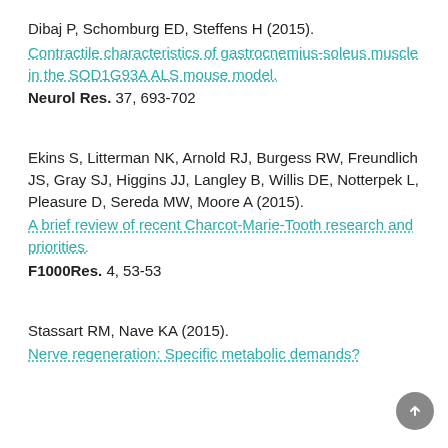Dibaj P, Schomburg ED, Steffens H (2015). Contractile characteristics of gastrocnemius-soleus muscle in the SOD1G93A ALS mouse model. Neurol Res. 37, 693-702
Ekins S, Litterman NK, Arnold RJ, Burgess RW, Freundlich JS, Gray SJ, Higgins JJ, Langley B, Willis DE, Notterpek L, Pleasure D, Sereda MW, Moore A (2015). A brief review of recent Charcot-Marie-Tooth research and priorities. F1000Res. 4, 53-53
Stassart RM, Nave KA (2015). Nerve regeneration: Specific metabolic demands?